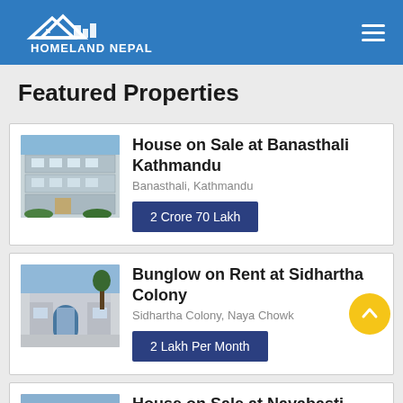Homeland Nepal
Featured Properties
House on Sale at Banasthali Kathmandu
Banasthali, Kathmandu
2 Crore 70 Lakh
Bunglow on Rent at Sidhartha Colony
Sidhartha Colony, Naya Chowk
2 Lakh Per Month
House on Sale at Nayabasti Imadol